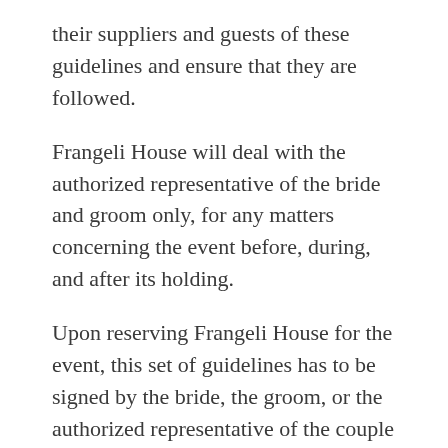their suppliers and guests of these guidelines and ensure that they are followed.
Frangeli House will deal with the authorized representative of the bride and groom only, for any matters concerning the event before, during, and after its holding.
Upon reserving Frangeli House for the event, this set of guidelines has to be signed by the bride, the groom, or the authorized representative of the couple and a representative of Frangeli House management. A copy each shall be in the possession of Frangeli House and of the